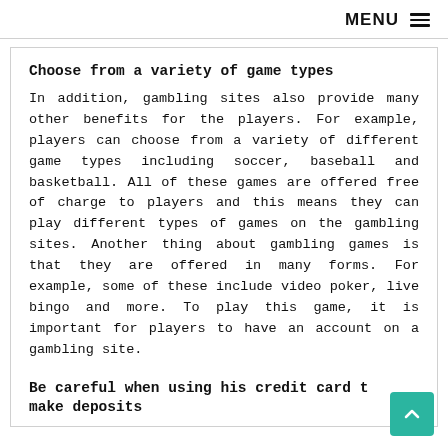MENU ≡
Choose from a variety of game types
In addition, gambling sites also provide many other benefits for the players. For example, players can choose from a variety of different game types including soccer, baseball and basketball. All of these games are offered free of charge to players and this means they can play different types of games on the gambling sites. Another thing about gambling games is that they are offered in many forms. For example, some of these include video poker, live bingo and more. To play this game, it is important for players to have an account on a gambling site.
Be careful when using his credit card to make deposits